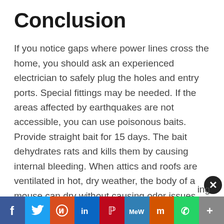Conclusion
If you notice gaps where power lines cross the home, you should ask an experienced electrician to safely plug the holes and entry ports. Special fittings may be needed. If the areas affected by earthquakes are not accessible, you can use poisonous baits. Provide straight bait for 15 days. The bait dehydrates rats and kills them by causing internal bleeding. When attics and roofs are ventilated in hot, dry weather, the body of a mouse can dry without causing odor issues. When it is humid, the poisons can be transported into residential areas and persist for several days. Mic… can …ing
[Figure (infographic): Social sharing bar with icons for Facebook, Twitter, Reddit, LinkedIn, Pinterest, MeWe, Mix, WhatsApp, and a plus/more button]